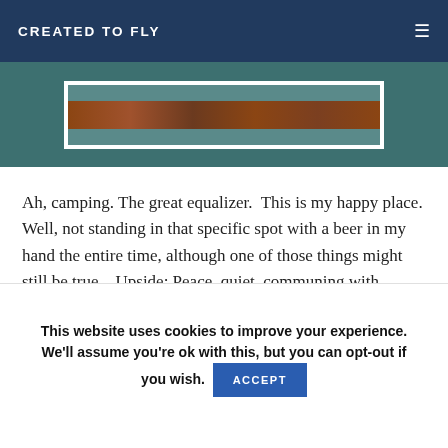CREATED TO FLY
[Figure (photo): A teal/dark-teal background panel with a framed photograph in the center showing what appears to be a wooden or rustic object on a light background.]
Ah, camping. The great equalizer.  This is my happy place. Well, not standing in that specific spot with a beer in my hand the entire time, although one of those things might still be true... Upside: Peace, quiet, communing with nature, hiking, clear rushing creeks and
This website uses cookies to improve your experience. We'll assume you're ok with this, but you can opt-out if you wish. ACCEPT